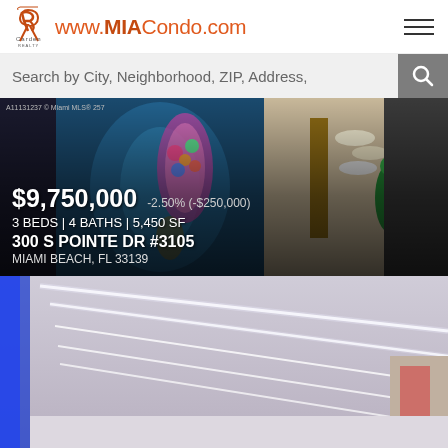www.MIACondo.com — Carden Realty
Search by City, Neighborhood, ZIP, Address,
[Figure (photo): Real estate listing photo collage showing underwater art installation, entry hallway with hats and decorative parrot sculpture. Price overlay: $9,750,000, -2.50% (-$250,000), 3 BEDS | 4 BATHS | 5,450 SF, 300 S POINTE DR #3105, MIAMI BEACH, FL 33139]
[Figure (photo): Modern interior hallway with LED linear ceiling lights and blue accent lighting on left wall]